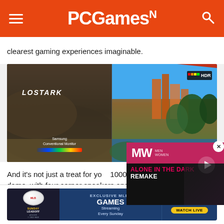PCGamesN
clearest gaming experiences imaginable.
[Figure (screenshot): Split-screen comparison showing Lost Ark game on left (Samsung Conventional Monitor label) and HDR enabled colorful castle scene on right]
[Figure (screenshot): Video overlay popup with MW logo in pink, play button, and title 'ALONE IN THE DARK REMAKE']
And it's not just a treat for yo... 1000R curvature of the scree... dome, with four corner speakers and two central
[Figure (infographic): Advertisement banner: EXCLUSIVE MLB GAMES Streaming Every Sunday on Peacock - WATCH LIVE]